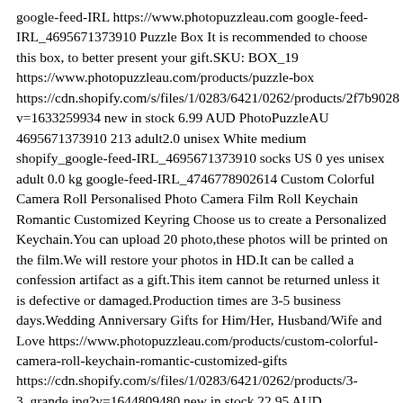google-feed-IRL https://www.photopuzzleau.com google-feed-IRL_4695671373910 Puzzle Box It is recommended to choose this box, to better present your gift.SKU: BOX_19 https://www.photopuzzleau.com/products/puzzle-box https://cdn.shopify.com/s/files/1/0283/6421/0262/products/2f7b9028 v=1633259934 new in stock 6.99 AUD PhotoPuzzleAU 4695671373910 213 adult2.0 unisex White medium shopify_google-feed-IRL_4695671373910 socks US 0 yes unisex adult 0.0 kg google-feed-IRL_4746778902614 Custom Colorful Camera Roll Personalised Photo Camera Film Roll Keychain Romantic Customized Keyring Choose us to create a Personalized Keychain.You can upload 20 photo,these photos will be printed on the film.We will restore your photos in HD.It can be called a confession artifact as a gift.This item cannot be returned unless it is defective or damaged.Production times are 3-5 business days.Wedding Anniversary Gifts for Him/Her, Husband/Wife and Love https://www.photopuzzleau.com/products/custom-colorful-camera-roll-keychain-romantic-customized-gifts https://cdn.shopify.com/s/files/1/0283/6421/0262/products/3-3_grande.jpg?v=1644809480 new in stock 22.95 AUD PhotopuzzleAU 4746778902614 213 adult2.0 unisex White medium shopify_google-feed-IRL_4746778902614 socks US 0 yes unisex adult 0.0 kg google-feed-IRL_4686019100758 Custom Photo Jigsaw Puzzle & Personalised Puzzle & Gifts For Family 35-1500 Piece & Photo Puzzle Australia & Photo Puzzles &